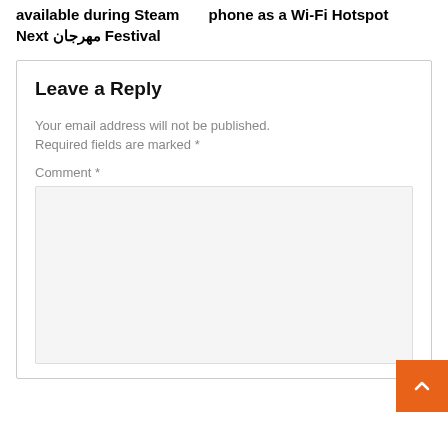available during Steam — phone as a Wi-Fi Hotspot Next مهرجان Festival
Leave a Reply
Your email address will not be published. Required fields are marked *
Comment *